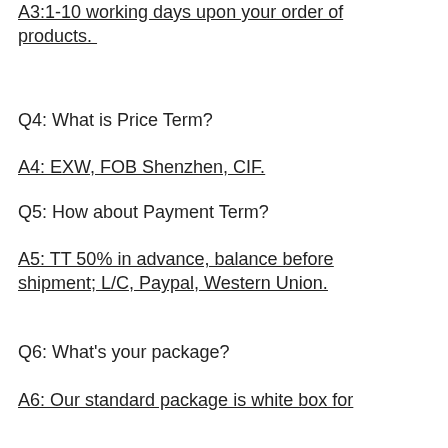A3:1-10 working days upon your order of products.
Q4: What is Price Term?
A4: EXW, FOB Shenzhen, CIF.
Q5: How about Payment Term?
A5: TT 50% in advance, balance before shipment; L/C, Paypal, Western Union.
Q6: What's your package?
A6: Our standard package is white box for unit set, carton for 10sets. Box Size: 26.5cmx19cmx6cm. Carton size: 41cmx34cmx30cm
Q7: What about shipment?
A7: DHL, EMS, FedEx, UPS, TNT Express; By air or by sea